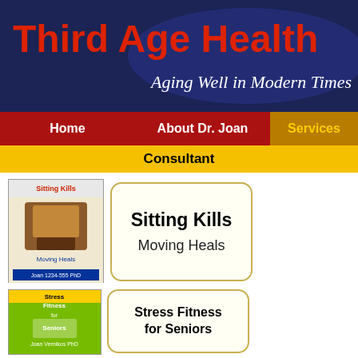Third Age Health
Aging Well in Modern Times
Home | About Dr. Joan | Services
Consultant
[Figure (screenshot): Book cover: Sitting Kills Moving Heals]
Sitting Kills
Moving Heals
[Figure (screenshot): Book cover: The G-Connection Harness Gravity and Reverse Aging]
The G-Connection
Harness Gravity
and
Reverse Aging
[Figure (screenshot): Book cover: Stress Fitness for Seniors]
Stress Fitness
for Seniors
Services
Dr. Joan serves individuals and organizations who intend being...